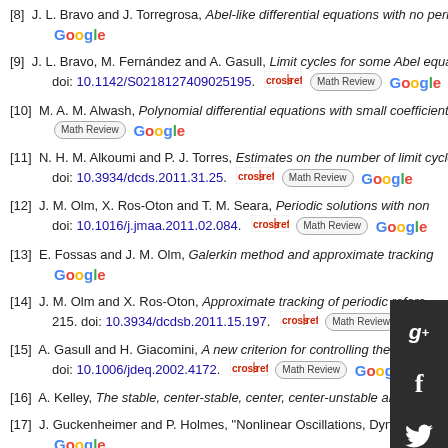[8] J. L. Bravo and J. Torregrosa, Abel-like differential equations with no periodic...
[9] J. L. Bravo, M. Fernández and A. Gasull, Limit cycles for some Abel equation... doi: 10.1142/S0218127409025195.
[10] M. A. M. Alwash, Polynomial differential equations with small coefficients, Di...
[11] N. H. M. Alkoumi and P. J. Torres, Estimates on the number of limit cycles o... doi: 10.3934/dcds.2011.31.25.
[12] J. M. Olm, X. Ros-Oton and T. M. Seara, Periodic solutions with non... doi: 10.1016/j.jmaa.2011.02.084.
[13] E. Fossas and J. M. Olm, Galerkin method and approximate tracking...
[14] J. M. Olm and X. Ros-Oton, Approximate tracking of periodic refere... 215. doi: 10.3934/dcdsb.2011.15.197.
[15] A. Gasull and H. Giacomini, A new criterion for controlling the numbe... doi: 10.1006/jdeq.2002.4172.
[16] A. Kelley, The stable, center-stable, center, center-unstable and unstable ma...
[17] J. Guckenheimer and P. Holmes, "Nonlinear Oscillations, Dynamical System...